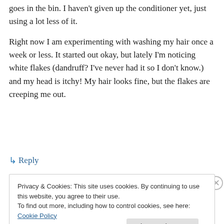goes in the bin. I haven't given up the conditioner yet, just using a lot less of it.
Right now I am experimenting with washing my hair once a week or less. It started out okay, but lately I'm noticing white flakes (dandruff? I've never had it so I don't know.) and my head is itchy! My hair looks fine, but the flakes are creeping me out.
↳ Reply
Privacy & Cookies: This site uses cookies. By continuing to use this website, you agree to their use. To find out more, including how to control cookies, see here: Cookie Policy
Close and accept